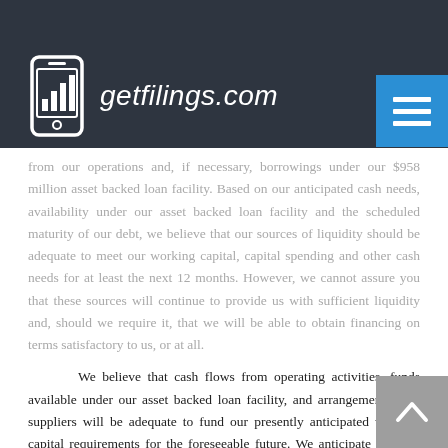getfilings.com
from our operations and, if necessary, borrowings under our $958 million asset backed loan facility. Based on our anticipated cash needs, availability under our asset backed loan facility and the scheduled maturity of our debt, we believe that our sources of liquidity should be adequate to meet our working capital, capital spending and other cash needs for at least the next 12 months. However, we cannot assure you that these sources will continue to provide us with sufficient liquidity and, should we require it, that we will be able to obtain financing on terms satisfactory to us, or at all.
We believe that cash flows from operating activities, funds available under our asset backed loan facility, and arrangements with suppliers will be adequate to fund our presently anticipated working capital requirements for the foreseeable future. We anticipate that our capital expenditures, which are related primarily to replacements and expansion of and upgrades to plant and equipment and investment in our implementation of a scalable enterprise-